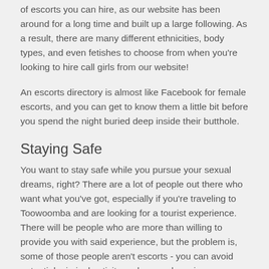of escorts you can hire, as our website has been around for a long time and built up a large following. As a result, there are many different ethnicities, body types, and even fetishes to choose from when you're looking to hire call girls from our website!
An escorts directory is almost like Facebook for female escorts, and you can get to know them a little bit before you spend the night buried deep inside their butthole.
Staying Safe
You want to stay safe while you pursue your sexual dreams, right? There are a lot of people out there who want what you've got, especially if you're traveling to Toowoomba and are looking for a tourist experience. There will be people who are more than willing to provide you with said experience, but the problem is, some of those people aren't escorts - you can avoid potential criminal activity and scams by using our website to hire your